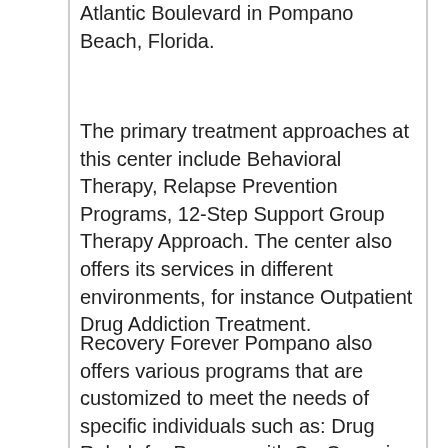Atlantic Boulevard in Pompano Beach, Florida.
The primary treatment approaches at this center include Behavioral Therapy, Relapse Prevention Programs, 12-Step Support Group Therapy Approach. The center also offers its services in different environments, for instance Outpatient Drug Addiction Treatment.
Recovery Forever Pompano also offers various programs that are customized to meet the needs of specific individuals such as: Drug Rehab for Persons with Co-Occurring Mental and Substance Use Disorders, Addiction Treatment for Women, Drug Rehab for Adult Men. Finally, Recovery